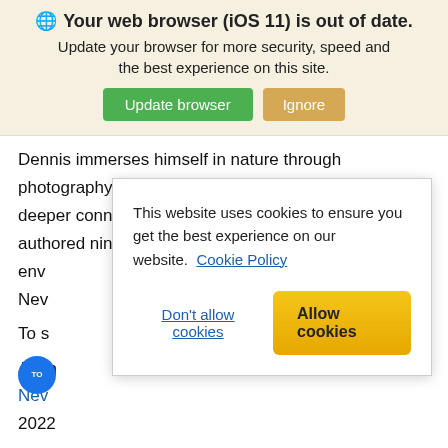[Figure (screenshot): Browser update notification banner with globe icon, bold title 'Your web browser (iOS 11) is out of date.', subtitle text, and two buttons: 'Update browser' (green) and 'Ignore' (tan/gold)]
Dennis immerses himself in nature through photography and seeks to inspire in the viewer a deeper connection with the natural world. Dennis has authored nine books on subjects such as env New
To s
This website uses cookies to ensure you get the best experience on our website. Cookie Policy
Don't allow cookies
Allow cookies
Join
New
2022